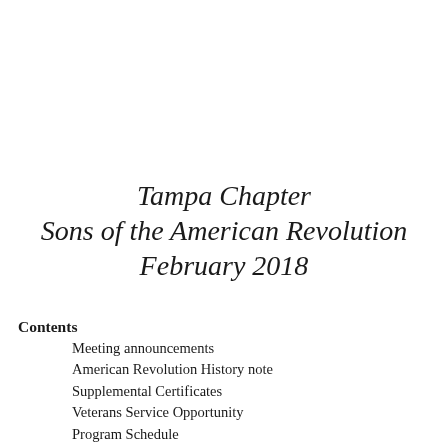Tampa Chapter Sons of the American Revolution February 2018
Contents
Meeting announcements
American Revolution History note
Supplemental Certificates
Veterans Service Opportunity
Program Schedule
Color Guard Opportunities
Misc. reminders and information